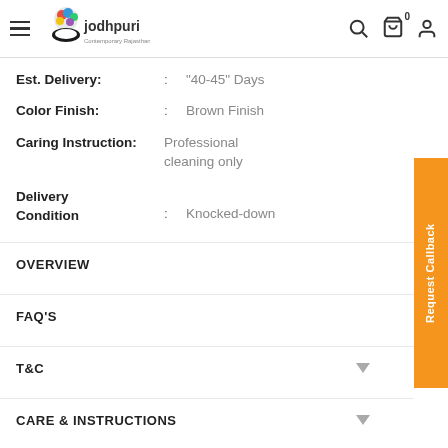Jodhpuri - hamburger menu, logo, search, cart, account icons
Est. Delivery: : "40-45" Days
Color Finish: : Brown Finish
Caring Instruction: : Professional cleaning only
Delivery Condition : Knocked-down
OVERVIEW
FAQ'S
T&C
CARE & INSTRUCTIONS